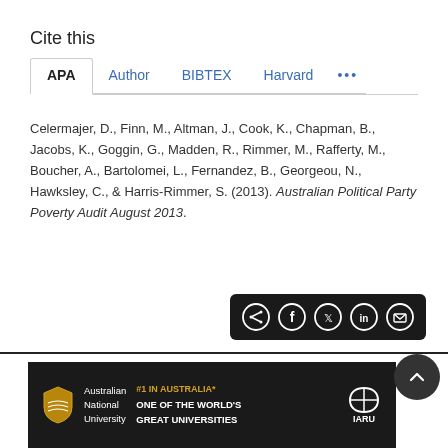Cite this
APA | Author | BIBTEX | Harvard | ...
Celermajer, D., Finn, M., Altman, J., Cook, K., Chapman, B., Jacobs, K., Goggin, G., Madden, R., Rimmer, M., Rafferty, M., Boucher, A., Bartolomei, L., Fernandez, B., Georgeou, N., Hawksley, C., & Harris-Rimmer, S. (2013). Australian Political Party Poverty Audit August 2013.
[Figure (other): Share bar with social media icons: share, Facebook, Twitter, LinkedIn, email]
[Figure (logo): Australian National University footer banner with #1 IN AUSTRALIA* ONE OF THE WORLD'S GREAT UNIVERSITIES and IARU logo]